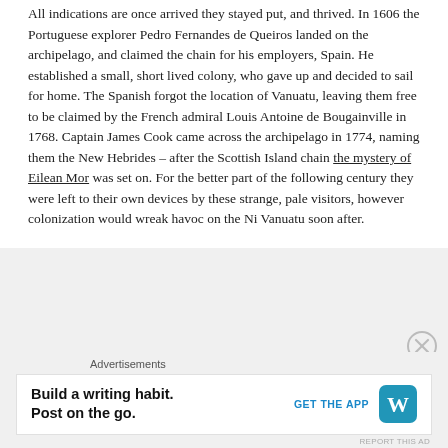All indications are once arrived they stayed put, and thrived. In 1606 the Portuguese explorer Pedro Fernandes de Queiros landed on the archipelago, and claimed the chain for his employers, Spain. He established a small, short lived colony, who gave up and decided to sail for home. The Spanish forgot the location of Vanuatu, leaving them free to be claimed by the French admiral Louis Antoine de Bougainville in 1768. Captain James Cook came across the archipelago in 1774, naming them the New Hebrides – after the Scottish Island chain the mystery of Eilean Mor was set on. For the better part of the following century they were left to their own devices by these strange, pale visitors, however colonization would wreak havoc on the Ni Vanuatu soon after.
[Figure (other): Close (X) button icon circle]
Advertisements
Build a writing habit. Post on the go. GET THE APP [WordPress logo]